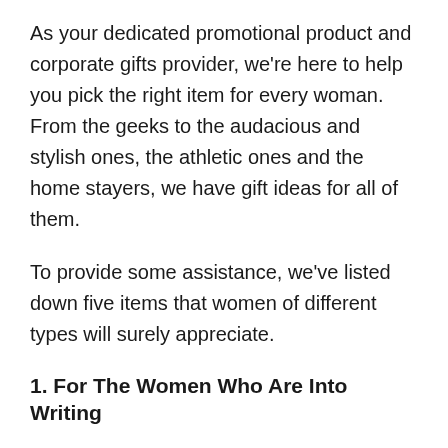As your dedicated promotional product and corporate gifts provider, we're here to help you pick the right item for every woman. From the geeks to the audacious and stylish ones, the athletic ones and the home stayers, we have gift ideas for all of them.
To provide some assistance, we've listed down five items that women of different types will surely appreciate.
1. For The Women Who Are Into Writing
It's not a secret that some women love to write love letters, diaries or take down a recipe on paper. They have the heart for anything paper, especially if it's cute and colourful in design.